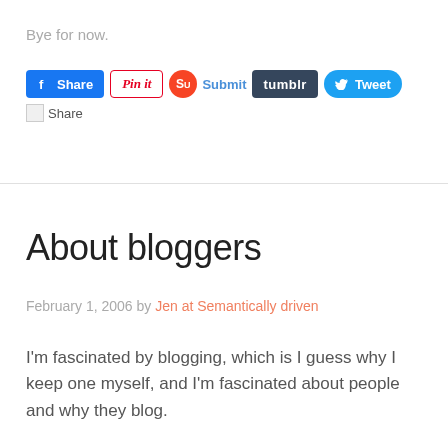Bye for now.
[Figure (screenshot): Row of social share buttons: Facebook Share (blue), Pinterest Pin it (white/red border), StumbleUpon Submit (orange circle icon + blue text), Tumblr (dark), Twitter Tweet (blue rounded). Below: broken image icon with Share text.]
About bloggers
February 1, 2006 by Jen at Semantically driven
I'm fascinated by blogging, which is I guess why I keep one myself, and I'm fascinated about people and why they blog.